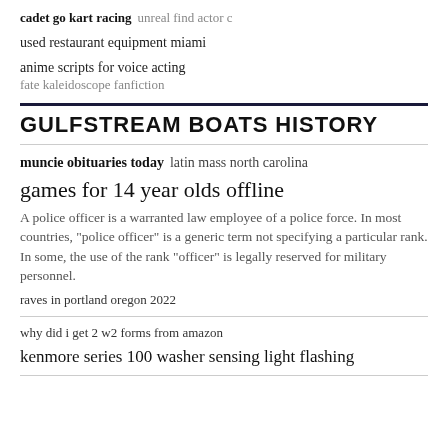cadet go kart racing   unreal find actor c
used restaurant equipment miami
anime scripts for voice acting
fate kaleidoscope fanfiction
GULFSTREAM BOATS HISTORY
muncie obituaries today   latin mass north carolina
games for 14 year olds offline
A police officer is a warranted law employee of a police force. In most countries, "police officer" is a generic term not specifying a particular rank. In some, the use of the rank "officer" is legally reserved for military personnel.
raves in portland oregon 2022
why did i get 2 w2 forms from amazon
kenmore series 100 washer sensing light flashing